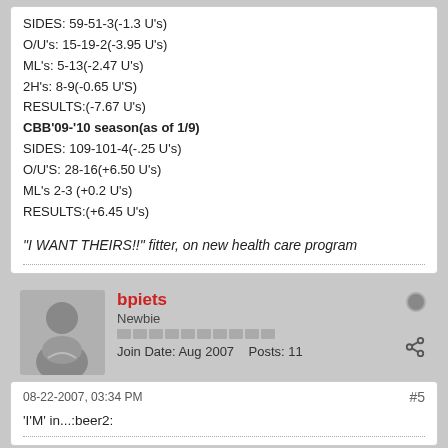SIDES: 59-51-3(-1.3 U's)
O/U's: 15-19-2(-3.95 U's)
ML's: 5-13(-2.47 U's)
2H's: 8-9(-0.65 U'S)
RESULTS:(-7.67 U's)
CBB'09-'10 season(as of 1/9)
SIDES: 109-101-4(-.25 U's)
O/U'S: 28-16(+6.50 U's)
ML's 2-3 (+0.2 U's)
RESULTS:(+6.45 U's)

"I WANT THEIRS!!" fitter, on new health care program
bpiets
Newbie
Join Date: Aug 2007   Posts: 11
08-22-2007, 03:34 PM
#5
'I'M' in...:beer2: